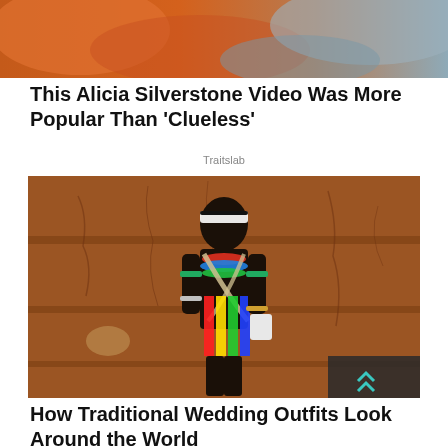[Figure (photo): Blurred orangeish background photo, top portion of article thumbnail]
This Alicia Silverstone Video Was More Popular Than 'Clueless'
Traitslab
[Figure (photo): A person in traditional colorful African tribal wedding outfit standing against a cracked mud wall]
How Traditional Wedding Outfits Look Around the World